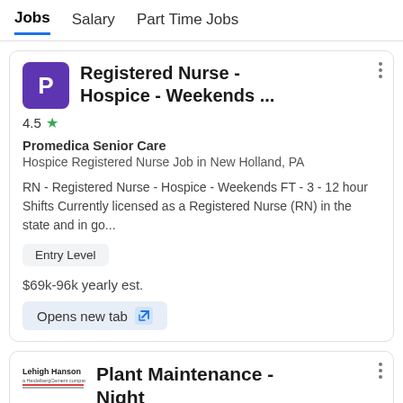Jobs  Salary  Part Time Jobs
Registered Nurse - Hospice - Weekends ...
4.5 ★
Promedica Senior Care
Hospice Registered Nurse Job in New Holland, PA
RN - Registered Nurse - Hospice - Weekends FT - 3 - 12 hour Shifts Currently licensed as a Registered Nurse (RN) in the state and in go...
Entry Level
$69k-96k yearly est.
Opens new tab
Plant Maintenance - Night
4.8 ★